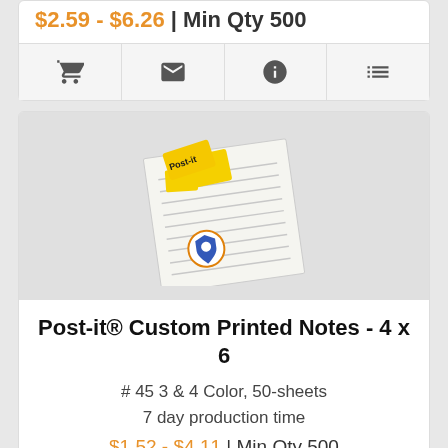$2.59 - $6.26 | Min Qty 500
[Figure (infographic): Icon row with shopping cart, envelope, info, and list icons]
[Figure (photo): Post-it Custom Printed Notes 4x6 product image showing a notepad with lined pages and a Post-it brand logo]
Post-it® Custom Printed Notes - 4 x 6
# 45 3 & 4 Color, 50-sheets
7 day production time
$1.52 - $4.11 | Min Qty 500